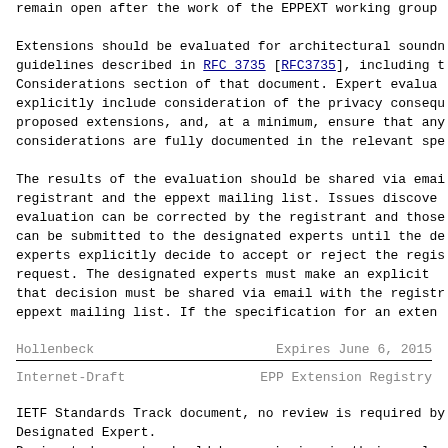remain open after the work of the IETF LEPT working group...
Extensions should be evaluated for architectural soundness per guidelines described in RFC 3735 [RFC3735], including the Security Considerations section of that document. Expert evaluations must explicitly include consideration of the privacy consequences of the proposed extensions, and, at a minimum, ensure that any privacy considerations are fully documented in the relevant specification.
The results of the evaluation should be shared via email with the registrant and the eppext mailing list. Issues discovered during evaluation can be corrected by the registrant and those corrections can be submitted to the designated experts until the designated experts explicitly decide to accept or reject the registration request. The designated experts must make an explicit decision and that decision must be shared via email with the registrant and the eppext mailing list. If the specification for an extension...
Hollenbeck                         Expires June 6, 2015
Internet-Draft                    EPP Extension Registry
IETF Standards Track document, no review is required by the Designated Expert.
Designated experts should be permissive in their evaluation of requests to register extensions that have been implemented...